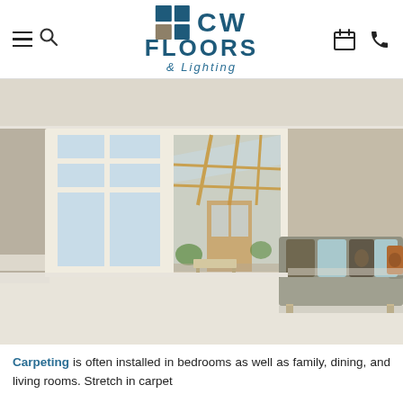CW FLOORS & Lighting — navigation bar with logo, hamburger menu, search, calendar and phone icons
[Figure (photo): Bright living room with cream carpet, grey sofa with coloured cushions, large white-framed windows opening onto a wooden conservatory/sunroom with plants]
Carpeting is often installed in bedrooms as well as family, dining, and living rooms. Stretch in carpet